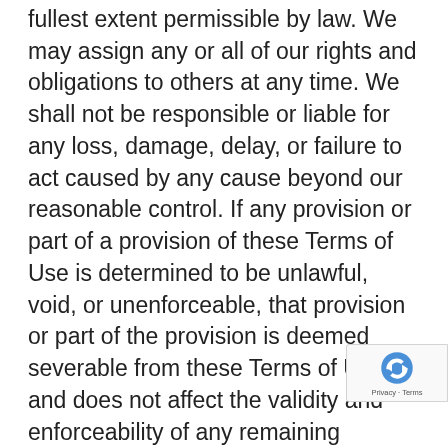fullest extent permissible by law. We may assign any or all of our rights and obligations to others at any time. We shall not be responsible or liable for any loss, damage, delay, or failure to act caused by any cause beyond our reasonable control. If any provision or part of a provision of these Terms of Use is determined to be unlawful, void, or unenforceable, that provision or part of the provision is deemed severable from these Terms of Use and does not affect the validity and enforceability of any remaining provisions. There is no joint venture, partnership, employment or agency relationship created between you and us as a result of these Terms of Use or use of the Site. You agree that these Terms of Use will